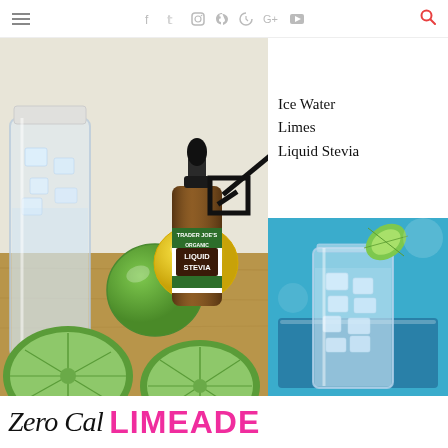≡  f  tw  ig  pinterest  G+  yt  🔍
[Figure (photo): Left: ingredients laid out on wooden surface — mason jar with ice water, green lime halved in foreground, whole lime and lemon, bottle of Trader Joe's Organic Liquid Stevia, with a drawn arrow pointing to the stevia bottle. Right top: white background with handwritten-style text listing Ice Water, Limes, Liquid Stevia. Right bottom: glass mason jar filled with ice and limeade on a blue tray, garnished with a lime wedge.]
Zero Cal LIMEADE